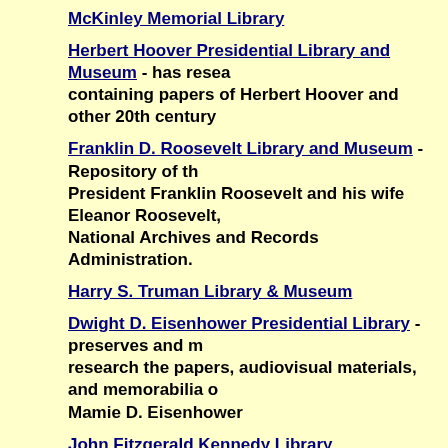McKinley Memorial Library
Herbert Hoover Presidential Library and Museum - has resea containing papers of Herbert Hoover and other 20th century
Franklin D. Roosevelt Library and Museum - Repository of th President Franklin Roosevelt and his wife Eleanor Roosevelt, National Archives and Records Administration.
Harry S. Truman Library & Museum
Dwight D. Eisenhower Presidential Library - preserves and m research the papers, audiovisual materials, and memorabilia Mamie D. Eisenhower
John Fitzgerald Kennedy Library
Lyndon B. Johnson Library and Museum
Richard Nixon Library and Birthplace Foundation
Gerald R. Ford Library and Museum
Jimmy Carter Library
Ronald Reagan Presidential Library - 40th President: 1981-19
George Bush Presidential Library